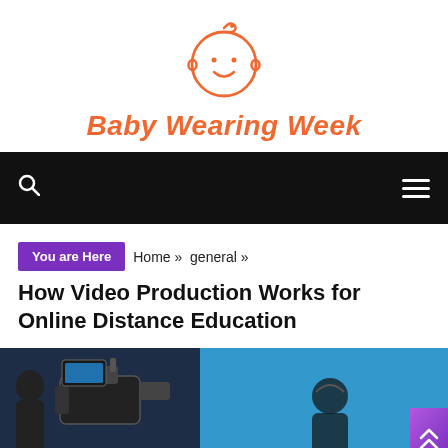[Figure (logo): Baby face icon outline in orange, circular with smile and curl on top]
Baby Wearing Week
Navigation bar with search icon and hamburger menu on black background
You are Here  Home » general »
How Video Production Works for Online Distance Education
[Figure (photo): Photo of video production crew with camera equipment, blue background, two people visible]